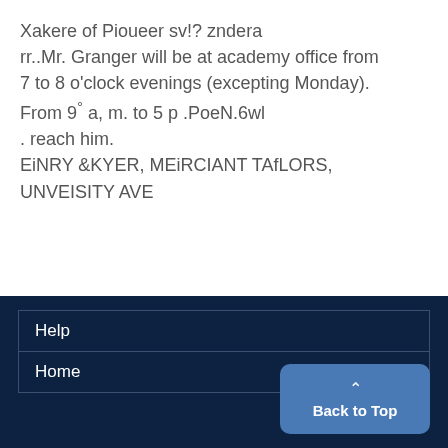Xakere of Pioueer sv!? zndera
rr..Mr. Granger will be at academy office from
7 to 8 o'clock evenings (excepting Monday).
From 9° a, m. to 5 p .PoeN.6wl
. reach him.
EiNRY &KYER, MEiRCIANT TAfLORS,
UNVEISITY AVE
Help
Home
Back to Top